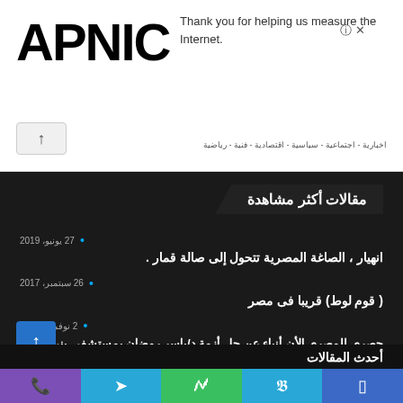[Figure (logo): APNIC logo in bold black text]
Thank you for helping us measure the Internet.
اخبارية - اجتماعية - سياسية - اقتصادية - فنية - رياضية
مقالات أكثر مشاهدة
27 يونيو، 2019
انهيار ، الصاغة المصرية تتحول إلى صالة قمار .
26 سبتمبر، 2017
( قوم لوط) قريبا فى مصر
2 نوفمبر، 2017
حصري  للمصري الأن أنباء عن حل أزمة د/ياسر رمضان.بمستشفى بني مزار العام. خلال الاسبوع القادم
أحدث المقالات